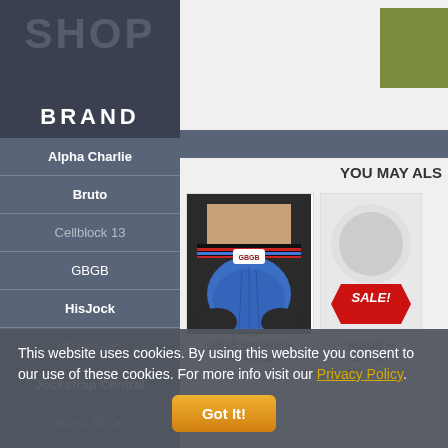SHOP BRAND
Alpha Charlie
Bruto
Cellblock 13
GBGB
HisJock
JC Athletic
Jockstrap Central
KING DICK
YOU MAY ALS
GBGB Streamline Jockstrap
Russell H Brother
This website uses cookies. By using this website you consent to our use of these cookies. For more info visit our Privacy Policy.
Got It!